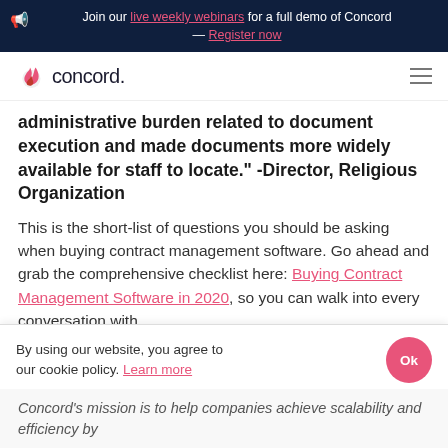Join our live weekly webinars for a full demo of Concord — Register now
[Figure (logo): Concord logo with pink flame icon and wordmark 'concord.']
administrative burden related to document execution and made documents more widely available for staff to locate." -Director, Religious Organization
This is the short-list of questions you should be asking when buying contract management software. Go ahead and grab the comprehensive checklist here: Buying Contract Management Software in 2020, so you can walk into every conversation with
By using our website, you agree to our cookie policy. Learn more
Concord's mission is to help companies achieve scalability and efficiency by